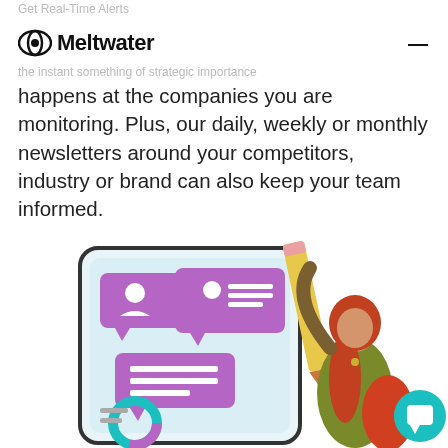Get Real-Time Alerts
Meltwater (logo + nav)
the instant something of strategic importance happens at the companies you are monitoring. Plus, our daily, weekly or monthly newsletters around your competitors, industry or brand can also keep your team informed.
[Figure (illustration): Illustration of a large smartphone screen showing social/messaging UI with purple chat bubbles with icons, a donut chart, and a woman with red hair holding a large pencil, wearing an olive jacket. A teal chat button is in the bottom right corner.]